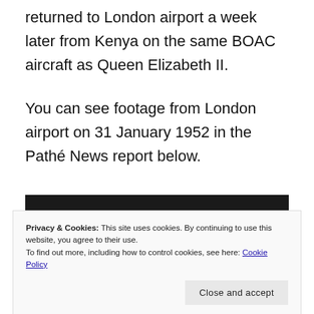returned to London airport a week later from Kenya on the same BOAC aircraft as Queen Elizabeth II.
You can see footage from London airport on 31 January 1952 in the Pathé News report below.
[Figure (screenshot): Partial black and white video screenshot with red shape visible at bottom, overlaid by a cookie consent banner.]
Privacy & Cookies: This site uses cookies. By continuing to use this website, you agree to their use.
To find out more, including how to control cookies, see here: Cookie Policy
Close and accept